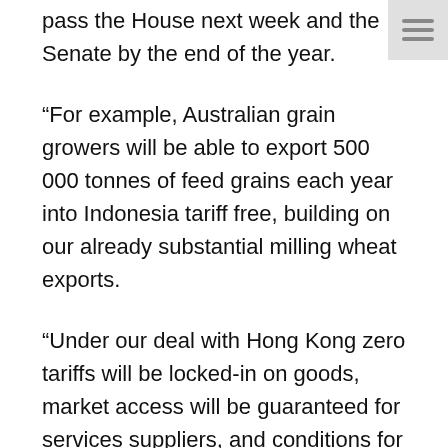pass the House next week and the Senate by the end of the year.
“For example, Australian grain growers will be able to export 500 000 tonnes of feed grains each year into Indonesia tariff free, building on our already substantial milling wheat exports.
“Under our deal with Hong Kong zero tariffs will be locked-in on goods, market access will be guaranteed for services suppliers, and conditions for two-way investment will be significantly improved.
“Australian dairy farmers will have historic new access to the Peru market, with zero tariffs locked-in from day one on 7,000 tonnes of products.
“Ratification of these agreements would build on the success our Government has had in growing Australian